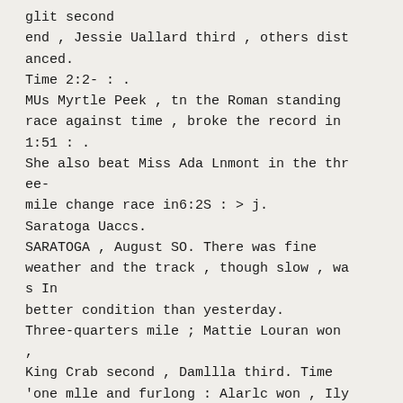glit second
end , Jessie Uallard third , others distanced.
Time 2:2- : .
MUs Myrtle Peek , tn the Roman standing race against time , broke the record in 1:51 : .
She also beat Miss Ada Lnmont in the three-
mile change race in6:2S : > j.
Saratoga Uaccs.
SARATOGA , August SO. There was fine weather and the track , though slow , was In
better condition than yesterday.
Three-quarters mile ; Mattie Louran won ,
King Crab second , Damllla third. Time
'one mlle and furlong : Alarlc won , Ily
l